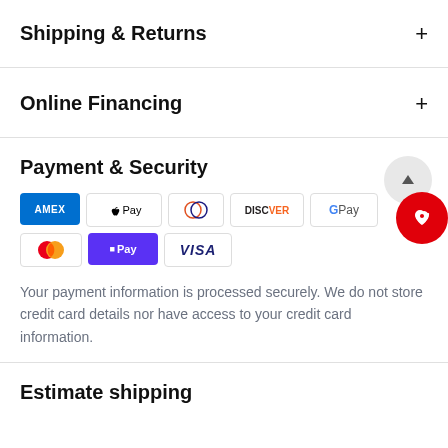Shipping & Returns
Online Financing
Payment & Security
[Figure (other): Payment method icons: American Express, Apple Pay, Diners Club, Discover, Google Pay, Mastercard, Shop Pay, Visa]
Your payment information is processed securely. We do not store credit card details nor have access to your credit card information.
Estimate shipping